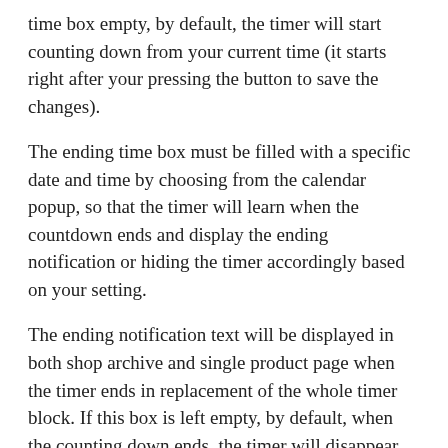time box empty, by default, the timer will start counting down from your current time (it starts right after your pressing the button to save the changes).
The ending time box must be filled with a specific date and time by choosing from the calendar popup, so that the timer will learn when the countdown ends and display the ending notification or hiding the timer accordingly based on your setting.
The ending notification text will be displayed in both shop archive and single product page when the timer ends in replacement of the whole timer block. If this box is left empty, by default, when the counting down ends, the timer will disappear completely from your store.
Position Selection
From the admin dashboard, navigate to WPClever >> Countdown Timer to adjust the position of the